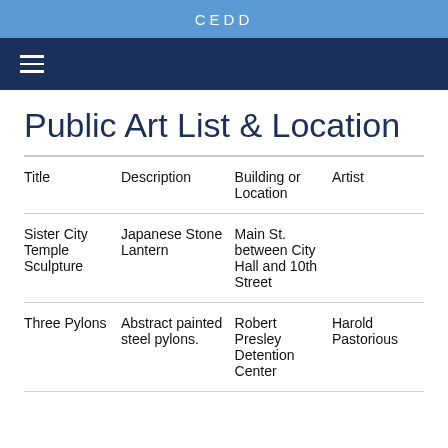CEDD
Public Art List & Location
| Title | Description | Building or Location | Artist |
| --- | --- | --- | --- |
| Sister City Temple Sculpture | Japanese Stone Lantern | Main St. between City Hall and 10th Street |  |
| Three Pylons | Abstract painted steel pylons. | Robert Presley Detention Center | Harold Pastorious |